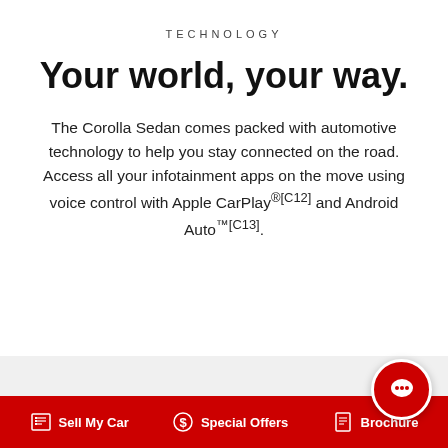TECHNOLOGY
Your world, your way.
The Corolla Sedan comes packed with automotive technology to help you stay connected on the road. Access all your infotainment apps on the move using voice control with Apple CarPlay®[C12] and Android Auto™[C13].
Sell My Car   Special Offers   Brochure